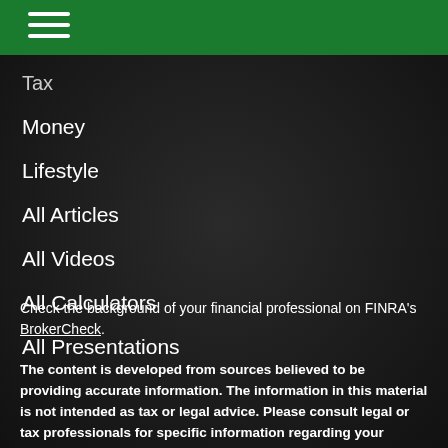Tax
Money
Lifestyle
All Articles
All Videos
All Calculators
All Presentations
Check the background of your financial professional on FINRA's BrokerCheck.
The content is developed from sources believed to be providing accurate information. The information in this material is not intended as tax or legal advice. Please consult legal or tax professionals for specific information regarding your individual situation. Some of this material was developed and produced by FMG Suite to provide information on a topic that may be of interest. FMG Suite is not affiliated with the named representative, broker - dealer, state - or SEC - registered investment advisory firm. The opinions expressed and material provided are for general information, and